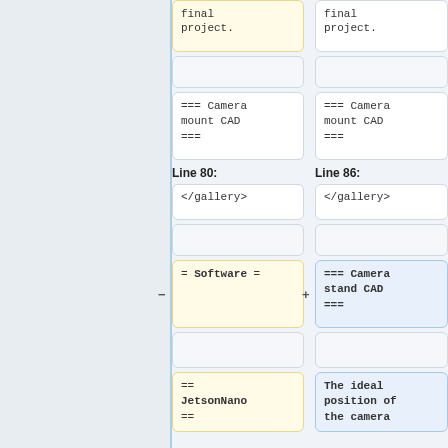[Figure (screenshot): A diff view showing two columns of wiki markup code. Left column shows old content with 'Line 80:' label, right column shows new content with 'Line 86:' label. Contains code boxes with wiki markup text including 'final project.', '=== Camera mount CAD ===', '</gallery>', '= Software =', '=== Camera stand CAD ===', '== JetsonNano ==', and 'The ideal position of the camera'. Yellow boxes indicate removed content, blue boxes indicate added content. A vertical blue line separates a gray left panel from the diff content.]